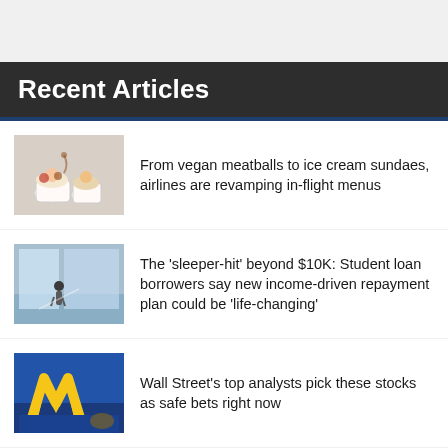Recent Articles
From vegan meatballs to ice cream sundaes, airlines are revamping in-flight menus
The 'sleeper-hit' beyond $10K: Student loan borrowers say new income-driven repayment plan could be 'life-changing'
Wall Street's top analysts pick these stocks as safe bets right now
Here's how up to $20,000 in student loan forgiveness could affect your credit score and